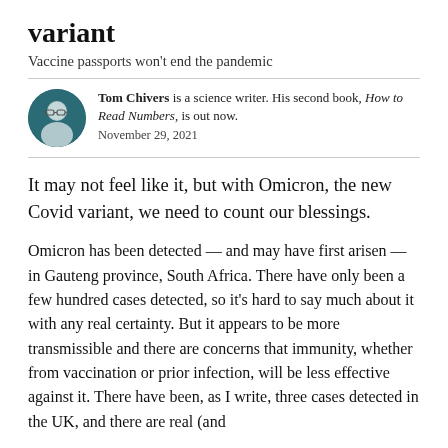variant
Vaccine passports won't end the pandemic
Tom Chivers is a science writer. His second book, How to Read Numbers, is out now.
November 29, 2021
It may not feel like it, but with Omicron, the new Covid variant, we need to count our blessings.
Omicron has been detected — and may have first arisen — in Gauteng province, South Africa. There have only been a few hundred cases detected, so it's hard to say much about it with any real certainty. But it appears to be more transmissible and there are concerns that immunity, whether from vaccination or prior infection, will be less effective against it. There have been, as I write, three cases detected in the UK, and there are real (and